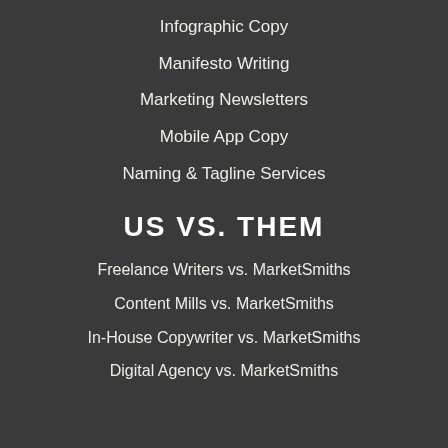Infographic Copy
Manifesto Writing
Marketing Newsletters
Mobile App Copy
Naming & Tagline Services
US VS. THEM
Freelance Writers vs. MarketSmiths
Content Mills vs. MarketSmiths
In-House Copywriter vs. MarketSmiths
Digital Agency vs. MarketSmiths